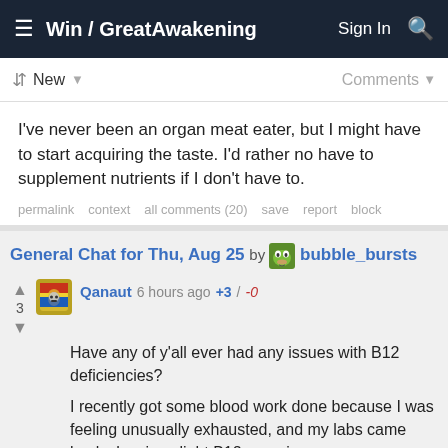Win / GreatAwakening  Sign In
New  Comments
I've never been an organ meat eater, but I might have to start acquiring the taste. I'd rather no have to supplement nutrients if I don't have to.
permalink  context  all comments (20)  save  report  block
General Chat for Thu, Aug 25 by bubble_bursts
Qanaut 6 hours ago +3 / -0
Have any of y'all ever had any issues with B12 deficiencies?
I recently got some blood work done because I was feeling unusually exhausted, and my labs came back showing slight B12 anemia.
I've been hitting a B Complex, B12, and Iron supplement each night with a Magnesium and Potassium tonic for about a week. Hoping I start feeling myself again soon!
I was just curious to share my experience to see if any Anons have been in a similar situation.